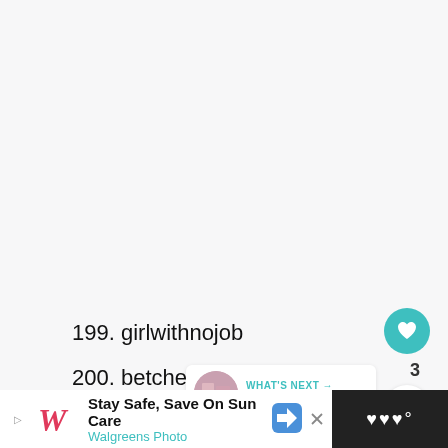[Figure (other): Large white/light gray blank image placeholder area occupying the top portion of the page]
199. girlwithnojob
200. betches
[Figure (other): What's Next panel — thumbnail circle image with text: WHAT'S NEXT → 500+ unique and funny...]
[Figure (other): Advertisement bar: Stay Safe, Save On Sun Care — Walgreens Photo, with Walgreens logo and navigation icon]